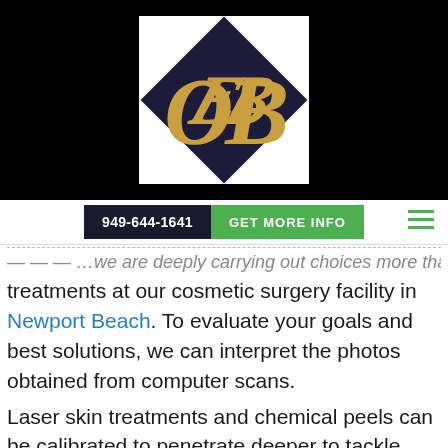[Figure (logo): OB monogram logo in gold italic script on a dark diamond shape, white background box, set against black header]
949-644-1641   GET MORE INFO
...we are deeply carrying out choices more than... treatments at our cosmetic surgery facility in Newport Beach. To evaluate your goals and best solutions, we can interpret the photos obtained from computer scans.
Laser skin treatments and chemical peels can be calibrated to penetrate deeper to tackle deeper problems like wrinkles and acne scars, or they can be used to gently eliminate symptoms of damage and mild aging in the surface layer of the skin for a fresh, revitalized look. The active wrinkles cure...